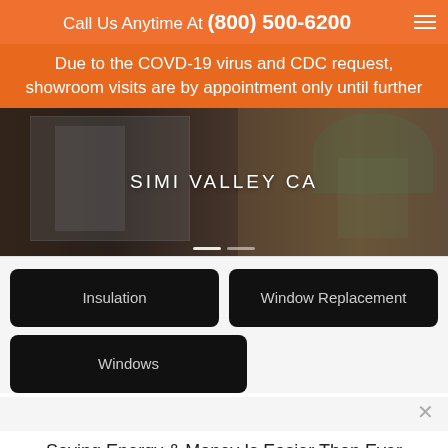Call Us Anytime At (800) 500-6200
Due to the COVD-19 virus and CDC request, showroom visits are by appointment only until further
[Figure (photo): Interior showroom photo with large windows, dark toned, text overlay reading SIMI VALLEY CA]
Insulation
Window Replacement
Windows
Saving Energy & Money Is Easier Than Ever
FREE ESTIMATES
TESTIMONIALS